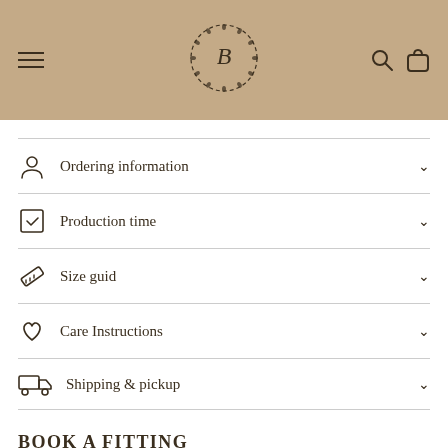B (boutique logo with wreath)
Ordering information
Production time
Size guid
Care Instructions
Shipping & pickup
BOOK A FITTING
Visit our Helsinki boutique to fit our wedding dresses